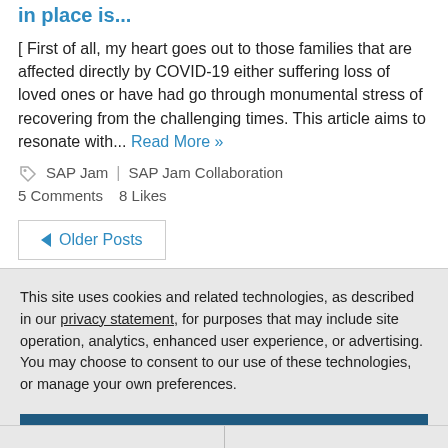in place is...
[ First of all, my heart goes out to those families that are affected directly by COVID-19 either suffering loss of loved ones or have had go through monumental stress of recovering from the challenging times. This article aims to resonate with... Read More »
SAP Jam | SAP Jam Collaboration
5 Comments   8 Likes
◄ Older Posts
This site uses cookies and related technologies, as described in our privacy statement, for purposes that may include site operation, analytics, enhanced user experience, or advertising. You may choose to consent to our use of these technologies, or manage your own preferences.
Accept Cookies
More Information
Privacy Policy | Powered by: TrustArc